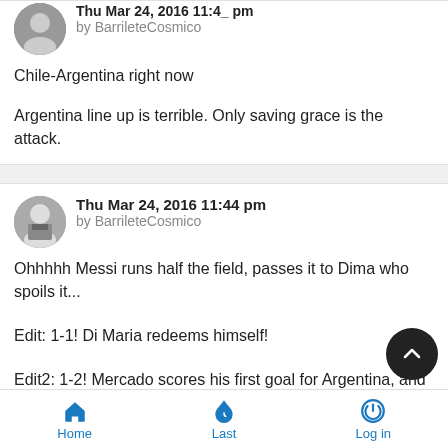Thu Mar 24, 2016 11:4_ pm
by BarrileteCosmico

Chile-Argentina right now

Argentina line up is terrible. Only saving grace is the attack.
Thu Mar 24, 2016 11:44 pm
by BarrileteCosmico

Ohhhhh Messi runs half the field, passes it to Dima who spoils it...

Edit: 1-1! Di Maria redeems himself!

Edit2: 1-2! Mercado scores his first goal for Argentina, and a scissor one at that! Great pre-assist by Di Maria and Messi
Home   Last   Log in